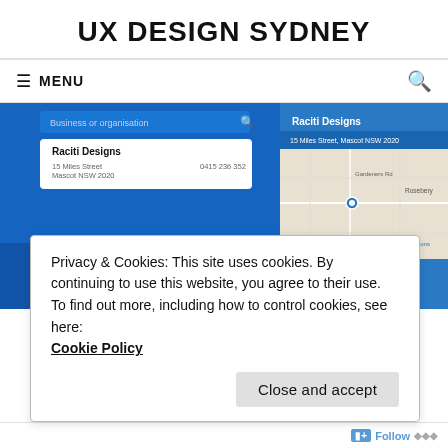UX DESIGN SYDNEY
≡ MENU
[Figure (screenshot): Screenshot of Sensis/White Pages website showing a search result for 'Raciti Designs' at 15 Miles Street, Mascot NSW 2020, phone 0415 236 352, with a map view on the right side showing the location near Rosebery.]
Privacy & Cookies: This site uses cookies. By continuing to use this website, you agree to their use.
To find out more, including how to control cookies, see here:
Cookie Policy
Close and accept